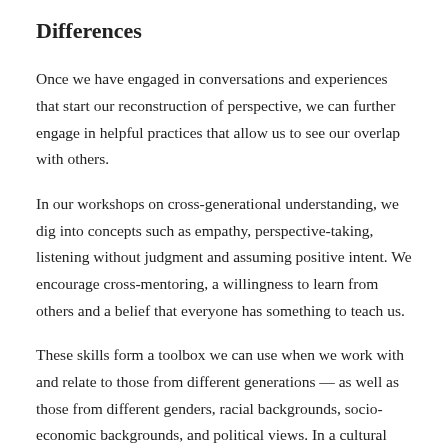Differences
Once we have engaged in conversations and experiences that start our reconstruction of perspective, we can further engage in helpful practices that allow us to see our overlap with others.
In our workshops on cross-generational understanding, we dig into concepts such as empathy, perspective-taking, listening without judgment and assuming positive intent. We encourage cross-mentoring, a willingness to learn from others and a belief that everyone has something to teach us.
These skills form a toolbox we can use when we work with and relate to those from different generations — as well as those from different genders, racial backgrounds, socio-economic backgrounds, and political views. In a cultural